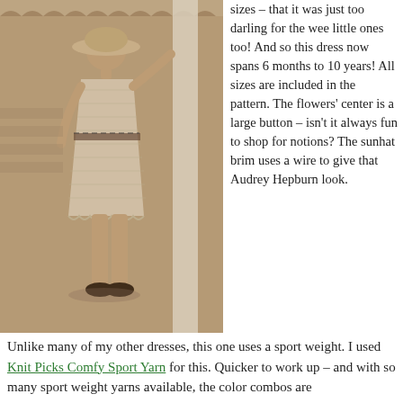[Figure (photo): Sepia-toned photo of a young girl wearing a crocheted dress and sun hat, walking on a wooden structure, holding a white post.]
sizes – that it was just too darling for the wee little ones too! And so this dress now spans 6 months to 10 years! All sizes are included in the pattern. The flowers' center is a large button – isn't it always fun to shop for notions? The sunhat brim uses a wire to give that Audrey Hepburn look.
Unlike many of my other dresses, this one uses a sport weight. I used Knit Picks Comfy Sport Yarn for this. Quicker to work up – and with so many sport weight yarns available, the color combos are